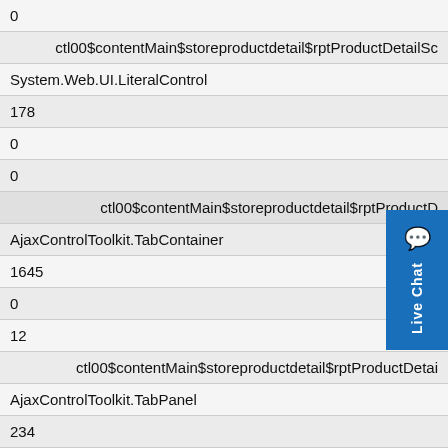| 0 |
| ctl00$contentMain$storeproductdetail$rptProductDetailSc |
| System.Web.UI.LiteralControl |
| 178 |
| 0 |
| 0 |
| ctl00$contentMain$storeproductdetail$rptProductD |
| AjaxControlToolkit.TabContainer |
| 1645 |
| 0 |
| 12 |
| ctl00$contentMain$storeproductdetail$rptProductDetai |
| AjaxControlToolkit.TabPanel |
| 234 |
| 0 |
| 0 |